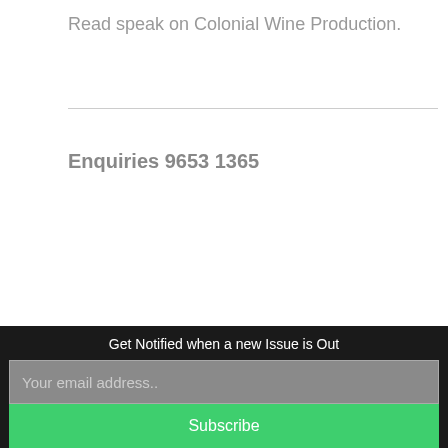Read speak on Colonial Wine Production.
Enquiries 9653 1365
[Figure (logo): Partial logo with orange and blue circular design visible at bottom of page]
Get Notified when a new Issue is Out
Your email address..
Subscribe